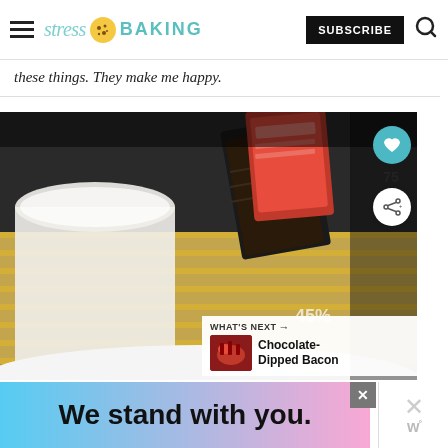stress BAKING — SUBSCRIBE
these things. They make me happy.
[Figure (photo): A glass of milk next to chocolate bar packaging on a gold-striped surface, with a white bowl visible at the bottom. Social share overlay with heart icon (75 saves) and share button. 'WHAT'S NEXT → Chocolate-Dipped Bacon' card in bottom right.]
We stand with you.